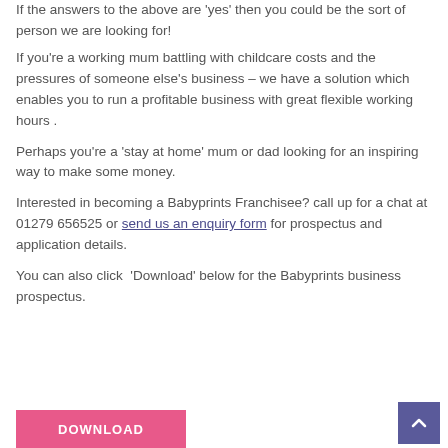If the answers to the above are 'yes' then you could be the sort of person we are looking for!
If you're a working mum battling with childcare costs and the pressures of someone else's business – we have a solution which enables you to run a profitable business with great flexible working hours .
Perhaps you're a 'stay at home' mum or dad looking for an inspiring way to make some money.
Interested in becoming a Babyprints Franchisee? call up for a chat at 01279 656525 or send us an enquiry form for prospectus and application details.
You can also click 'Download' below for the Babyprints business prospectus.